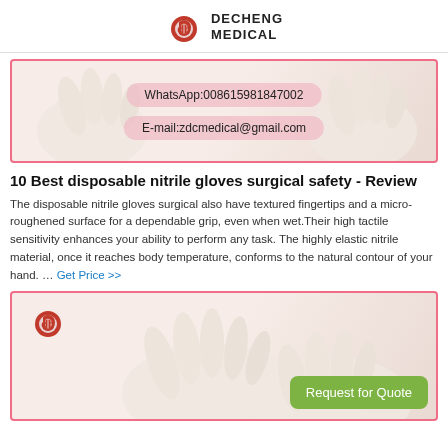[Figure (logo): Decheng Medical logo with red diamond shield icon and brand name DECHENG MEDICAL in bold]
[Figure (photo): White nitrile gloves on light background with WhatsApp and email contact overlays. WhatsApp:008615981847002, E-mail:zdcmedical@gmail.com]
10 Best disposable nitrile gloves surgical safety - Review
The disposable nitrile gloves surgical also have textured fingertips and a micro-roughened surface for a dependable grip, even when wet.Their high tactile sensitivity enhances your ability to perform any task. The highly elastic nitrile material, once it reaches body temperature, conforms to the natural contour of your hand. … Get Price >>
[Figure (photo): White nitrile gloves on light background with Decheng Medical logo in top left and green Request for Quote button in bottom right]